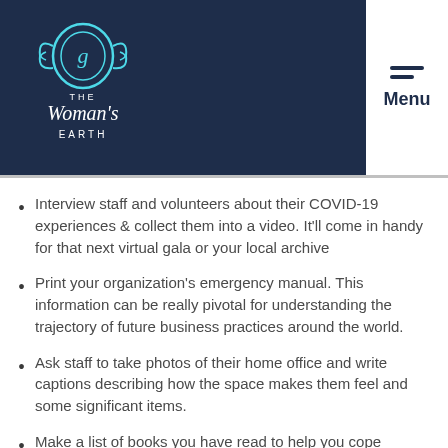[Figure (logo): The Woman's Earth logo with teal decorative circular emblem and white text on dark navy background]
Interview staff and volunteers about their COVID-19 experiences & collect them into a video. It'll come in handy for that next virtual gala or your local archive
Print your organization's emergency manual. This information can be really pivotal for understanding the trajectory of future business practices around the world.
Ask staff to take photos of their home office and write captions describing how the space makes them feel and some significant items.
Make a list of books you have read to help you cope